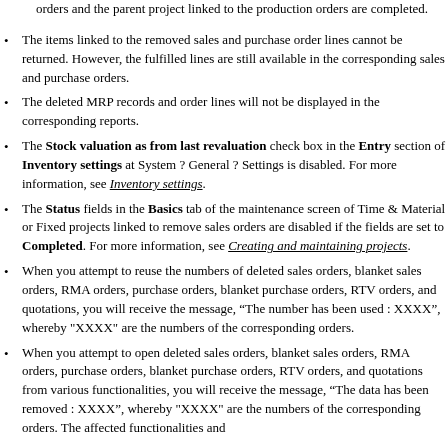orders and the parent project linked to the production orders are completed.
The items linked to the removed sales and purchase order lines cannot be returned. However, the fulfilled lines are still available in the corresponding sales and purchase orders.
The deleted MRP records and order lines will not be displayed in the corresponding reports.
The Stock valuation as from last revaluation check box in the Entry section of Inventory settings at System ? General ? Settings is disabled. For more information, see Inventory settings.
The Status fields in the Basics tab of the maintenance screen of Time & Material or Fixed projects linked to remove sales orders are disabled if the fields are set to Completed. For more information, see Creating and maintaining projects.
When you attempt to reuse the numbers of deleted sales orders, blanket sales orders, RMA orders, purchase orders, blanket purchase orders, RTV orders, and quotations, you will receive the message, “The number has been used : XXXX”, whereby "XXXX" are the numbers of the corresponding orders.
When you attempt to open deleted sales orders, blanket sales orders, RMA orders, purchase orders, blanket purchase orders, RTV orders, and quotations from various functionalities, you will receive the message, “The data has been removed : XXXX”, whereby "XXXX" are the numbers of the corresponding orders. The affected functionalities and